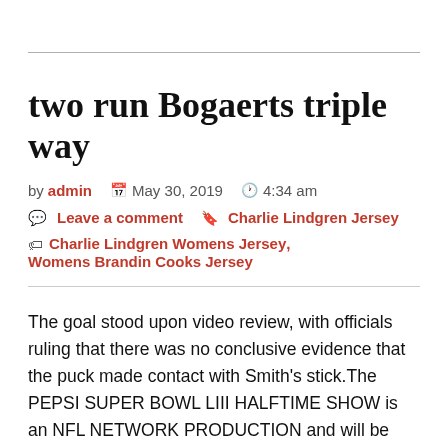two run Bogaerts triple way
by admin  May 30, 2019  4:34 am
Leave a comment  Charlie Lindgren Jersey
Charlie Lindgren Womens Jersey, Womens Brandin Cooks Jersey
The goal stood upon video review, with officials ruling that there was no conclusive evidence that the puck made contact with Smith's stick.The PEPSI SUPER BOWL LIII HALFTIME SHOW is an NFL NETWORK PRODUCTION and will be executive produced by RICKY KIRSHNER and directed by